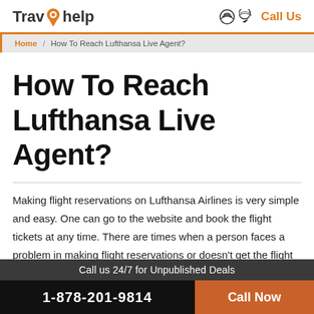TravOhelp | Call Us
Home / How To Reach Lufthansa Live Agent?
How To Reach Lufthansa Live Agent?
Making flight reservations on Lufthansa Airlines is very simple and easy. One can go to the website and book the flight tickets at any time. There are times when a person faces a problem in making flight reservations or doesn't get the flight on the required date or destination. For such cases, passengers can contact the
Call us 24/7 for Unpublished Deals | 1-878-201-9814 | Call Now